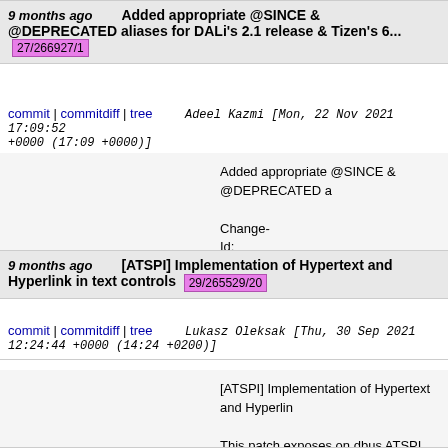9 months ago   Added appropriate @SINCE & @DEPRECATED aliases for DALi's 2.1 release & Tizen's 6...   27/266927/1
commit | commitdiff | tree   Adeel Kazmi [Mon, 22 Nov 2021 17:09:52 +0000 (17:09 +0000)]
Added appropriate @SINCE & @DEPRECATED a

Change-Id: Icc5d8ce08b5967eb60afdc2654e174548766673...
9 months ago   [ATSPI] Implementation of Hypertext and Hyperlink in text controls   29/265529/20
commit | commitdiff | tree   Lukasz Oleksak [Thu, 30 Sep 2021 12:24:44 +0000 (14:24 +0200)]
[ATSPI] Implementation of Hypertext and Hyperlin

This patch exposes on dbus ATSPI Hypertext inte for the following text controls: TextEditor, TextFiel Also it brings new class TextAnchor inheriting from the geometry of an anchor inside the text controls which exposes on dbus ATSPI Hyperlink interface

Change-Id: Ic46bcf7a3ddfe49b1723ebf8025fba6779fda05c...